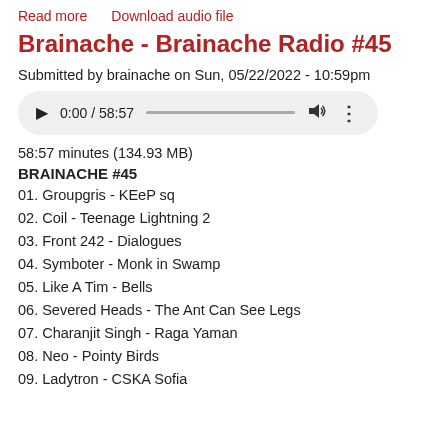Read more   Download audio file
Brainache - Brainache Radio #45
Submitted by brainache on Sun, 05/22/2022 - 10:59pm
[Figure (other): Audio player widget showing 0:00 / 58:57 with play button, progress bar, volume icon, and more options icon]
58:57 minutes (134.93 MB)
BRAINACHE #45
01. Groupgris - KEeP sq
02. Coil - Teenage Lightning 2
03. Front 242 - Dialogues
04. Symboter - Monk in Swamp
05. Like A Tim - Bells
06. Severed Heads - The Ant Can See Legs
07. Charanjit Singh - Raga Yaman
08. Neo - Pointy Birds
09. Ladytron - CSKA Sofia